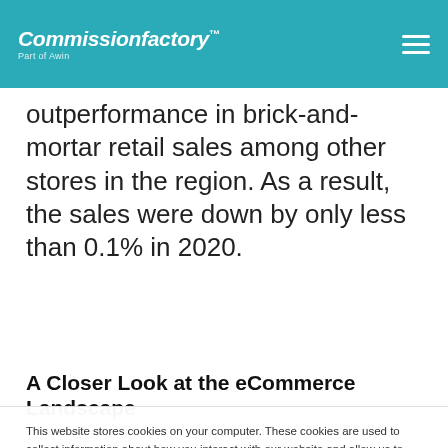Commissionfactory™ Part of Awin
outperformance in brick-and-mortar retail sales among other stores in the region. As a result, the sales were down by only less than 0.1% in 2020.
A Closer Look at the eCommerce Landscape
This website stores cookies on your computer. These cookies are used to collect information about how you interact with our website and allow us to remember you. We use this information in order to improve and customize your browsing experience and for analytics and metrics about our visitors both on this website and other media. To find out more about the cookies we use, see our Privacy Policy.
Accept | Don't ask me again